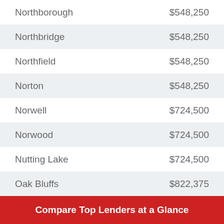| Location | Amount |
| --- | --- |
| Northborough | $548,250 |
| Northbridge | $548,250 |
| Northfield | $548,250 |
| Norton | $548,250 |
| Norwell | $724,500 |
| Norwood | $724,500 |
| Nutting Lake | $724,500 |
| Oak Bluffs | $822,375 |
| Oakham | $548,250 |
| Ocean Bluff | $724,500 |
Compare Top Lenders at a Glance